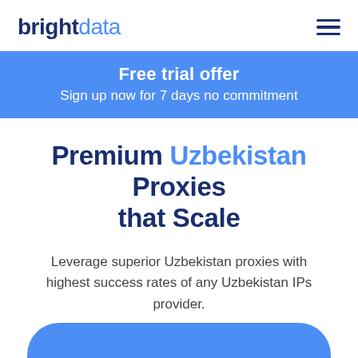bright data
Free trial offer
Sign up now for 7 days no commitment
Premium Uzbekistan Proxies that Scale
Leverage superior Uzbekistan proxies with highest success rates of any Uzbekistan IPs provider.
64,999 Uzbekistan IPs